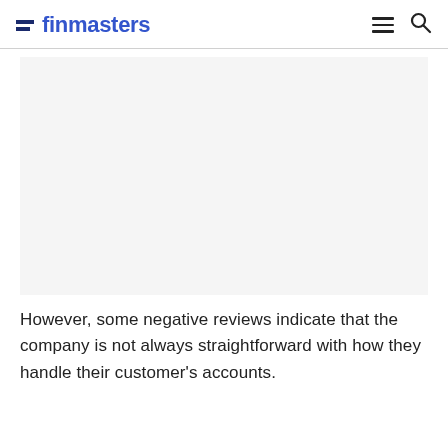finmasters
[Figure (other): Large white/light gray image placeholder area below the header navigation bar]
However, some negative reviews indicate that the company is not always straightforward with how they handle their customer's accounts.